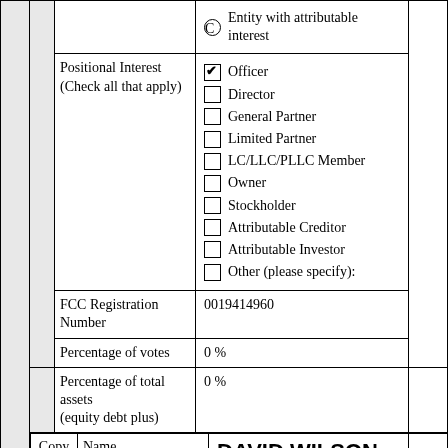|  | Entity with attributable interest |
| Positional Interest (Check all that apply) | Officer [checked], Director, General Partner, Limited Partner, LC/LLC/PLLC Member, Owner, Stockholder, Attributable Creditor, Attributable Investor, Other (please specify): |
| FCC Registration Number | 0019414960 |
| Percentage of votes | 0 % |
| Percentage of total assets (equity debt plus) | 0 % |
| Copy 8. | Name: DAVID WILSON, Address: Street 2625 S. MEMORIAL DRIVE |